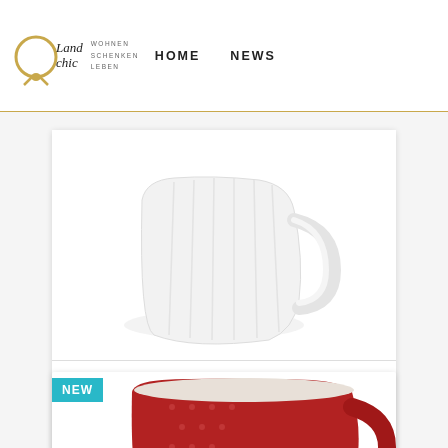[Figure (logo): Landchic logo with script text and golden circle/rope emblem, tagline WOHNEN SCHENKEN LEBEN]
HOME  NEWS
[Figure (photo): White ceramic creamer/milk jug with ridged texture and handle, photographed on white background]
Creamer Alice White By...
€7.30
ADD TO CART
[Figure (photo): Red ceramic mug with dotted/embossed texture and handle, partially visible at bottom of page, with NEW badge]